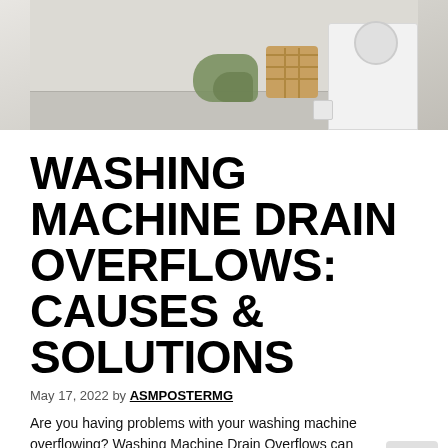[Figure (photo): A laundry room with a white washing machine, a wicker laundry basket, and a green cloth/towel draped on the floor.]
WASHING MACHINE DRAIN OVERFLOWS: CAUSES & SOLUTIONS
May 17, 2022 by ASMPOSTERMG
Are you having problems with your washing machine overflowing? Washing Machine Drain Overflows can